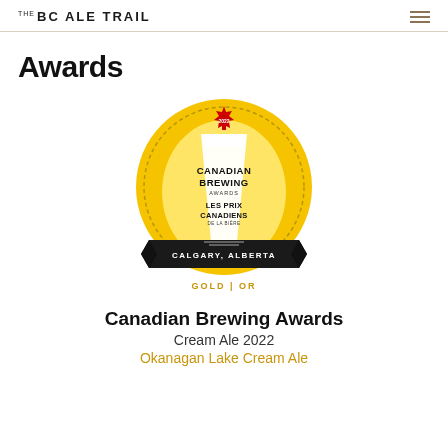THE BC ALE TRAIL
Awards
[Figure (logo): Canadian Brewing Awards 2022 gold medal badge — circular gold medal with a maple leaf and '2022' at top, beer glass silhouette in center, text 'CANADIAN BREWING AWARDS / LES PRIX CANADIENS DE LA BIÈRE', black banner at bottom reading 'CALGARY, ALBERTA', and 'GOLD | OR' text below in gold]
Canadian Brewing Awards
Cream Ale 2022
Okanagan Lake Cream Ale